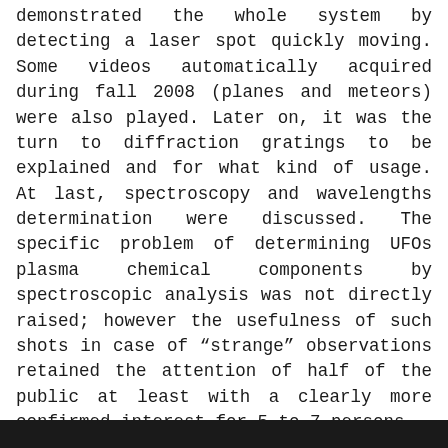demonstrated the whole system by detecting a laser spot quickly moving. Some videos automatically acquired during fall 2008 (planes and meteors) were also played. Later on, it was the turn to diffraction gratings to be explained and for what kind of usage. At last, spectroscopy and wavelengths determination were discussed. The specific problem of determining UFOs plasma chemical components by spectroscopic analysis was not directly raised; however the usefulness of such shots in case of "strange" observations retained the attention of half of the public at least with a clearly more confirmed interest for 5 to 7 persons.